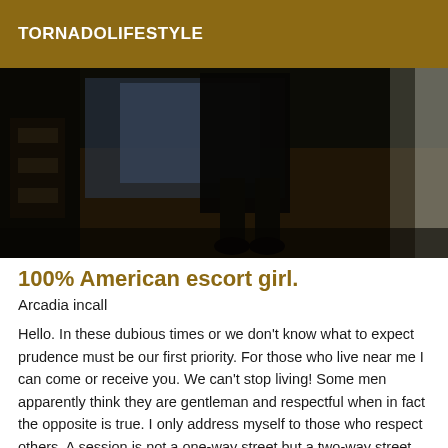TORNADOLIFESTYLE
[Figure (photo): Dark indoor photograph showing a person's legs and feet standing in a dimly lit room, with light coming from a doorway or window in the background.]
100% American escort girl.
Arcadia incall
Hello. In these dubious times or we don't know what to expect prudence must be our first priority. For those who live near me I can come or receive you. We can't stop living! Some men apparently think they are gentleman and respectful when in fact the opposite is true. I only address myself to those who respect others. A session is not a one-way street but a two-way street. Bcp more